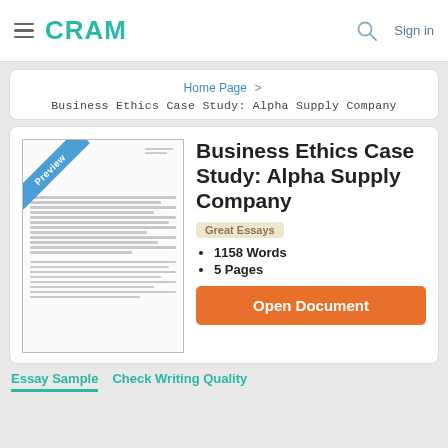CRAM  Sign in
Home Page > Business Ethics Case Study: Alpha Supply Company
Business Ethics Case Study: Alpha Supply Company
[Figure (illustration): Preview thumbnail of a document page with a diagonal blue 'Preview' ribbon in the top-left corner and lines of text simulated below.]
Great Essays
1158 Words
5 Pages
Open Document
Essay Sample   Check Writing Quality